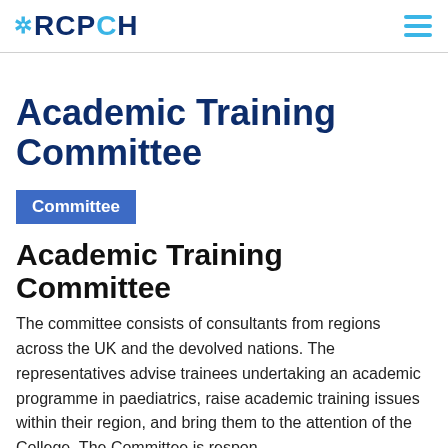RCPCH
Academic Training Committee
Committee
Academic Training Committee
The committee consists of consultants from regions across the UK and the devolved nations. The representatives advise trainees undertaking an academic programme in paediatrics, raise academic training issues within their region, and bring them to the attention of the College. The Committee is respon...